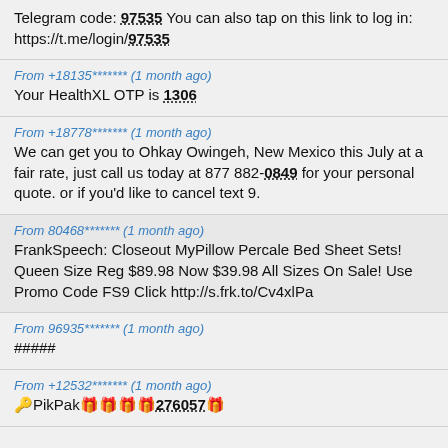Telegram code: 97535 You can also tap on this link to log in: https://t.me/login/97535
From +18135******* (1 month ago)
Your HealthXL OTP is 1306
From +18778******* (1 month ago)
We can get you to Ohkay Owingeh, New Mexico this July at a fair rate, just call us today at 877 882-0849 for your personal quote. or if you'd like to cancel text 9.
From 80468******* (1 month ago)
FrankSpeech: Closeout MyPillow Percale Bed Sheet Sets! Queen Size Reg $89.98 Now $39.98 All Sizes On Sale! Use Promo Code FS9 Click http://s.frk.to/Cv4xlPa
From 96935******* (1 month ago)
#####
From +12532******* (1 month ago)
🔑PikPak🎁🎁🎁🎁276057🎁